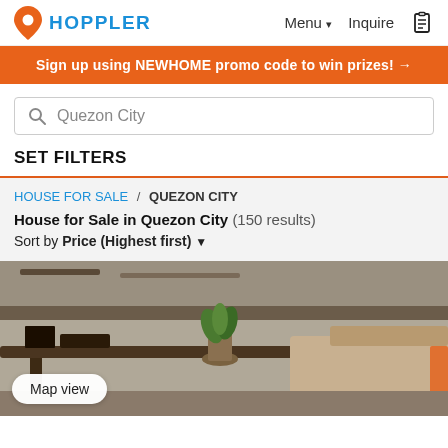HOPPLER  Menu  Inquire
Sign up using NEWHOME promo code to win prizes! →
Quezon City
SET FILTERS
HOUSE FOR SALE / QUEZON CITY
House for Sale in Quezon City (150 results)
Sort by Price (Highest first) ▾
[Figure (photo): Interior photo showing a living/dining area with dark wood furniture, a small green plant centerpiece, and beige sofa in background]
Map view